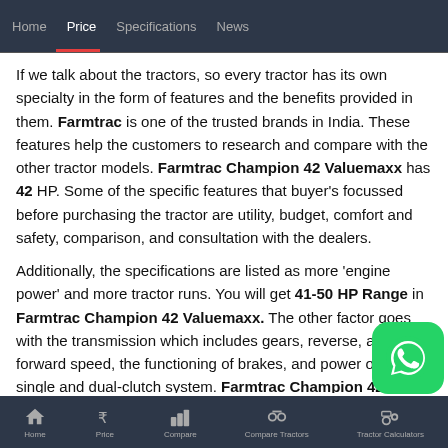Home  Price  Specifications  News
If we talk about the tractors, so every tractor has its own specialty in the form of features and the benefits provided in them. Farmtrac is one of the trusted brands in India. These features help the customers to research and compare with the other tractor models. Farmtrac Champion 42 Valuemaxx has 42 HP. Some of the specific features that buyer's focussed before purchasing the tractor are utility, budget, comfort and safety, comparison, and consultation with the dealers.
Additionally, the specifications are listed as more 'engine power' and more tractor runs. You will get 41-50 HP Range in Farmtrac Champion 42 Valuemaxx. The other factor goes with the transmission which includes gears, reverse, and forward speed, the functioning of brakes, and power of the single and dual-clutch system. Farmtrac Champion 42 Valuemaxx tractor has 2WD hydraulics make the turning easier which is also used for lifting attachments and implements. The PTO shaft is the part of the
Home  Price  Compare  Compare Tractors  Tractor Calculators